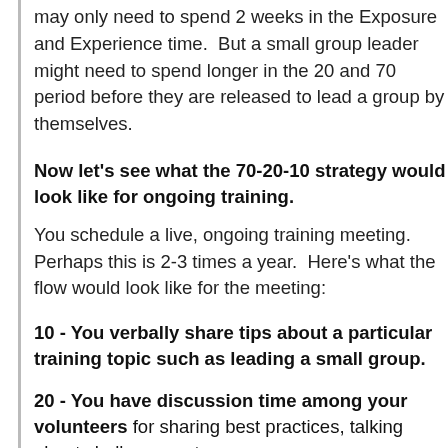may only need to spend 2 weeks in the Exposure and Experience time.  But a small group leader might need to spend longer in the 20 and 70 period before they are released to lead a group by themselves.
Now let's see what the 70-20-10 strategy would look like for ongoing training.
You schedule a live, ongoing training meeting.  Perhaps this is 2-3 times a year.  Here's what the flow would look like for the meeting:
10 - You verbally share tips about a particular training topic such as leading a small group.
20 - You have discussion time among your volunteers for sharing best practices, talking about challenges, etc.